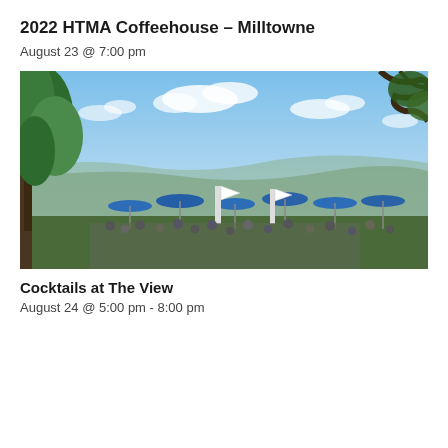2022 HTMA Coffeehouse – Milltowne
August 23 @ 7:00 pm
[Figure (photo): Outdoor event photo showing people gathered under blue umbrellas/tents on a hilltop overlook with a panoramic valley view, green trees, and blue sky with clouds.]
Cocktails at The View
August 24 @ 5:00 pm - 8:00 pm